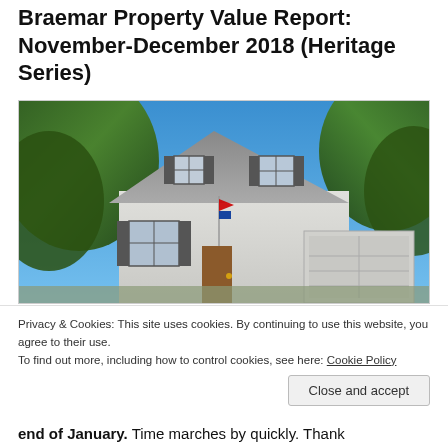Braemar Property Value Report: November-December 2018 (Heritage Series)
[Figure (photo): Exterior photo of a two-story white suburban house with gray roof, attached garage, surrounded by green trees under a blue sky.]
Privacy & Cookies: This site uses cookies. By continuing to use this website, you agree to their use.
To find out more, including how to control cookies, see here: Cookie Policy
Close and accept
end of January.  Time marches by quickly.  Thank